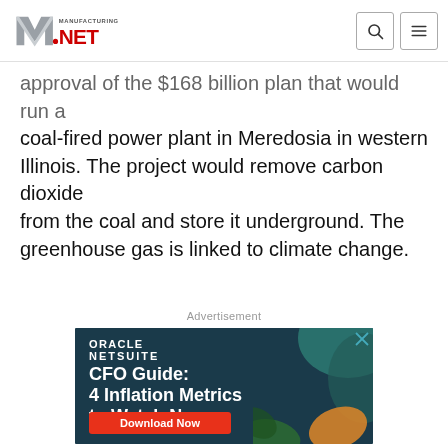Manufacturing.net
approval of the $168 billion plan that would run a coal-fired power plant in Meredosia in western Illinois. The project would remove carbon dioxide from the coal and store it underground. The greenhouse gas is linked to climate change.
Advertisement
[Figure (other): Oracle NetSuite advertisement: CFO Guide: 4 Inflation Metrics to Watch Now, with Download Now button on dark teal background with decorative leaf/organic shapes]